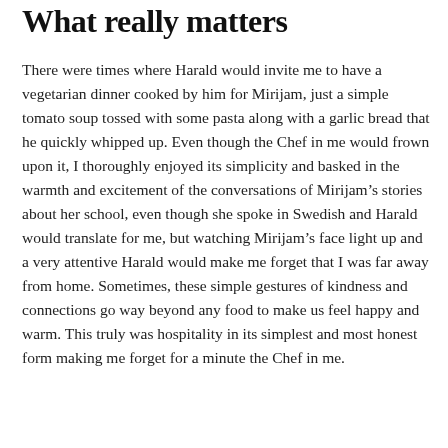What really matters
There were times where Harald would invite me to have a vegetarian dinner cooked by him for Mirijam, just a simple tomato soup tossed with some pasta along with a garlic bread that he quickly whipped up. Even though the Chef in me would frown upon it, I thoroughly enjoyed its simplicity and basked in the warmth and excitement of the conversations of Mirijam’s stories about her school, even though she spoke in Swedish and Harald would translate for me, but watching Mirijam’s face light up and a very attentive Harald would make me forget that I was far away from home. Sometimes, these simple gestures of kindness and connections go way beyond any food to make us feel happy and warm. This truly was hospitality in its simplest and most honest form making me forget for a minute the Chef in me.